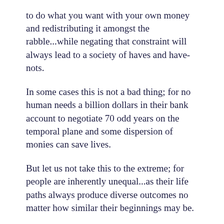to do what you want with your own money and redistributing it amongst the rabble...while negating that constraint will always lead to a society of haves and have-nots.
In some cases this is not a bad thing; for no human needs a billion dollars in their bank account to negotiate 70 odd years on the temporal plane and some dispersion of monies can save lives.
But let us not take this to the extreme; for people are inherently unequal...as their life paths always produce diverse outcomes no matter how similar their beginnings may be.
Codifying equal outcomes is the death knell of ambition; for what is there to strive *for* if all efforts to achieve and uplift oneself yield no tangible fruit?